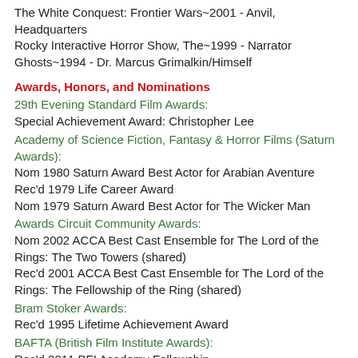The White Conquest: Frontier Wars~2001 - Anvil, Headquarters
Rocky Interactive Horror Show, The~1999 - Narrator
Ghosts~1994 - Dr. Marcus Grimalkin/Himself
Awards, Honors, and Nominations
29th Evening Standard Film Awards:
Special Achievement Award: Christopher Lee
Academy of Science Fiction, Fantasy & Horror Films (Saturn Awards):
Nom 1980 Saturn Award Best Actor for Arabian Aventure
Rec'd 1979 Life Career Award
Nom 1979 Saturn Award Best Actor for The Wicker Man
Awards Circuit Community Awards:
Nom 2002 ACCA Best Cast Ensemble for The Lord of the Rings: The Two Towers (shared)
Rec'd 2001 ACCA Best Cast Ensemble for The Lord of the Rings: The Fellowship of the Ring (shared)
Bram Stoker Awards:
Rec'd 1995 Lifetime Achievement Award
BAFTA (British Film Institute Awards):
Rec'd 2011 BFI Academy Fellowship